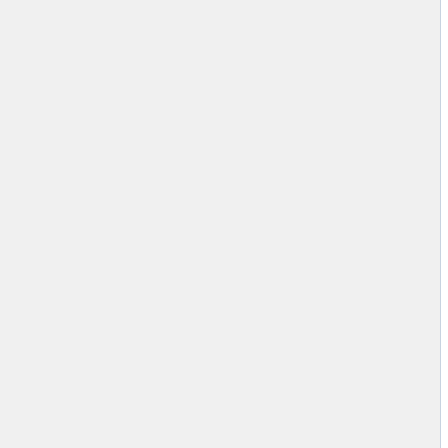Students February 8, 2017 - Atlanta, GA [external link]
Schenck School Parent Education Presentation - February 2, 2017 - Atlanta, GA [external link]
Exploring AT and Disability Awareness Cambridge High School - January 26, 2017 - Alpharetta, GA [external link]
ATIA [truncated]